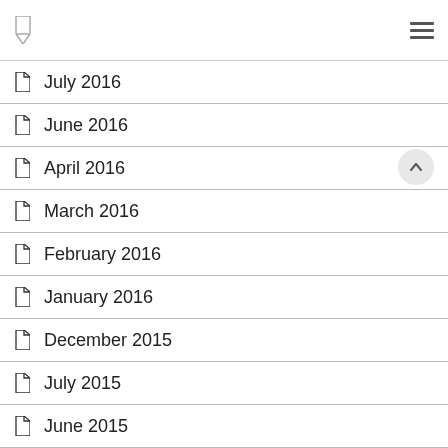Navigation header with logo and hamburger menu
July 2016
June 2016
April 2016
March 2016
February 2016
January 2016
December 2015
July 2015
June 2015
March 2015